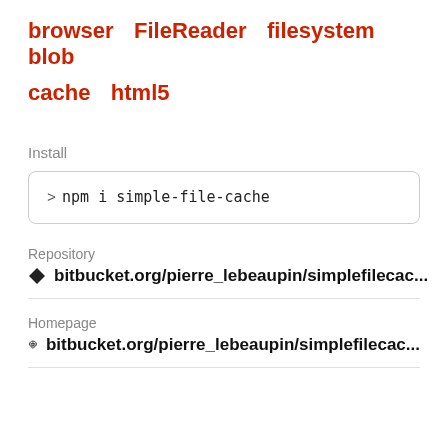browser   FileReader   filesystem   blob
cache   html5
Install
> npm i simple-file-cache
Repository
bitbucket.org/pierre_lebeaupin/simplefilecac...
Homepage
bitbucket.org/pierre_lebeaupin/simplefilecac...